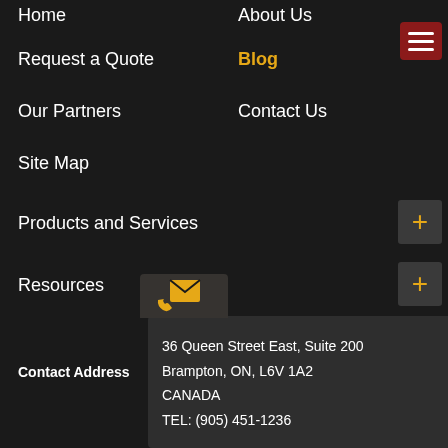Home
About Us
Request a Quote
Blog
Our Partners
Contact Us
Site Map
Products and Services
Resources
Contact Address
36 Queen Street East, Suite 200
Brampton, ON, L6V 1A2
CANADA
TEL: (905) 451-1236